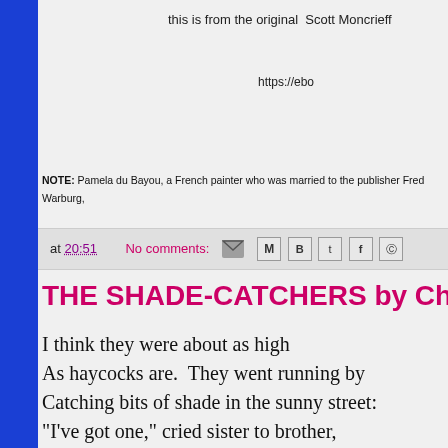this is from the original  Scott Moncrieff
https://ebo
NOTE: Pamela du Bayou, a French painter who was married to the publisher Fred Warburg,
at 20:51   No comments:
THE SHADE-CATCHERS by Charlotte
I think they were about as high
As haycocks are.  They went running by
Catching bits of shade in the sunny street:
"I've got one," cried sister to brother,
     "I've got two." "Now I've got another."